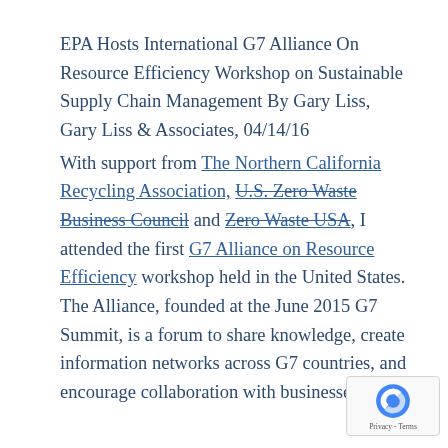EPA Hosts International G7 Alliance On Resource Efficiency Workshop on Sustainable Supply Chain Management By Gary Liss, Gary Liss & Associates, 04/14/16
With support from The Northern California Recycling Association, U.S. Zero Waste Business Council and Zero Waste USA, I attended the first G7 Alliance on Resource Efficiency workshop held in the United States. The Alliance, founded at the June 2015 G7 Summit, is a forum to share knowledge, create information networks across G7 countries, and encourage collaboration with businesses